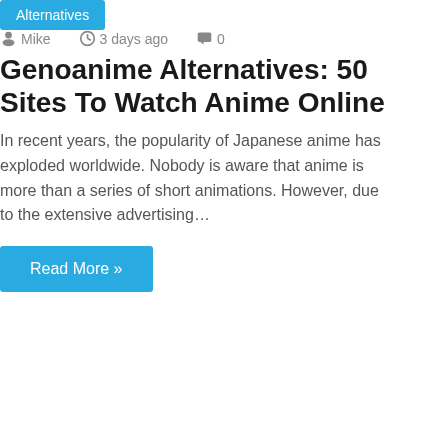Alternatives
Mike  3 days ago  0
Genoanime Alternatives: 50 Sites To Watch Anime Online
In recent years, the popularity of Japanese anime has exploded worldwide. Nobody is aware that anime is more than a series of short animations. However, due to the extensive advertising…
Read More »